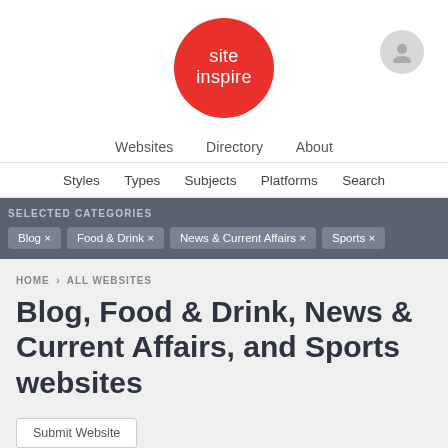[Figure (logo): SiteInspire logo: red circle with white text 'site inspire']
Websites   Directory   About
Styles   Types   Subjects   Platforms   Search
SELECTED CATEGORIES
Blog ×
Food & Drink ×
News & Current Affairs ×
Sports ×
HOME › ALL WEBSITES
Blog, Food & Drink, News & Current Affairs, and Sports websites
Submit Website